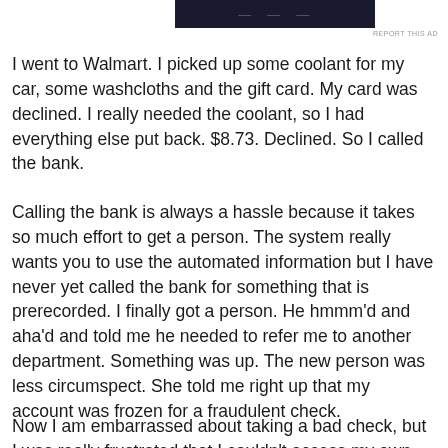[Figure (other): Dark advertisement banner at top of page]
REPORT THIS AD
I went to Walmart. I picked up some coolant for my car, some washcloths and the gift card. My card was declined. I really needed the coolant, so I had everything else put back. $8.73. Declined. So I called the bank.
Calling the bank is always a hassle because it takes so much effort to get a person. The system really wants you to use the automated information but I have never yet called the bank for something that is prerecorded. I finally got a person. He hmmm'd and aha'd and told me he needed to refer me to another department. Something was up. The new person was less circumspect. She told me right up that my account was frozen for a fraudulent check.
Now I am embarrassed about taking a bad check, but I was really frustrated that I couldn't access my own money